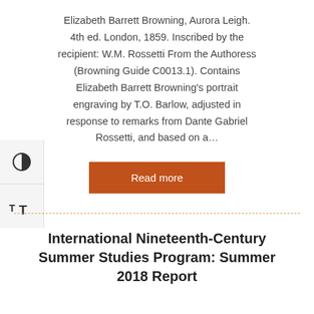Elizabeth Barrett Browning, Aurora Leigh. 4th ed. London, 1859. Inscribed by the recipient: W.M. Rossetti From the Authoress (Browning Guide C0013.1). Contains Elizabeth Barrett Browning's portrait engraving by T.O. Barlow, adjusted in response to remarks from Dante Gabriel Rossetti, and based on a…
[Figure (other): Orange 'Read more' button]
International Nineteenth-Century Summer Studies Program: Summer 2018 Report